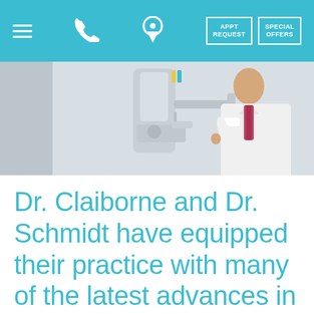Navigation bar with menu, phone, location, APPT REQUEST, SPECIAL OFFERS
[Figure (photo): Doctor in white coat operating a dental imaging or X-ray machine in a clinical setting]
Dr. Claiborne and Dr. Schmidt have equipped their practice with many of the latest advances in dental technology. These technologies are able to...